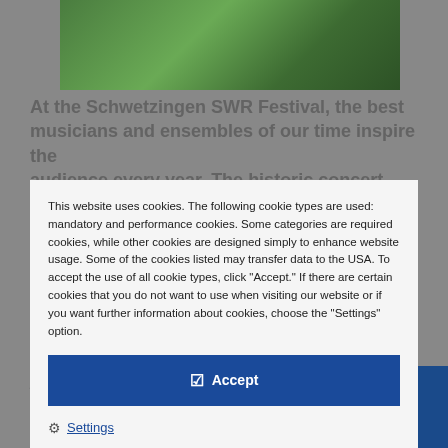[Figure (photo): Green landscape photo, partial view at top of page]
At the Schwetzingen SWR Festival, the best musicians and ensembles of our time inspire the audience every year. The historic concert halls, the
This website uses cookies. The following cookie types are used: mandatory and performance cookies. Some categories are required cookies, while other cookies are designed simply to enhance website usage. Some of the cookies listed may transfer data to the USA. To accept the use of all cookie types, click "Accept." If there are certain cookies that you do not want to use when visiting our website or if you want further information about cookies, choose the "Settings" option.
Accept
Settings
Data Privacy
Cookie Policy
productions are recorded by SWR and broadcast
RETROLUB SE has been supporting this cultural event, which has become a tradition, for several
Further Information ↗